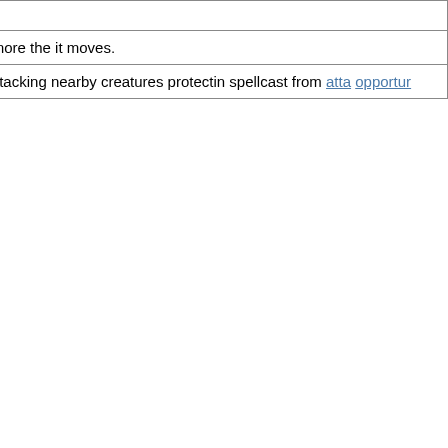| Spell Name | Comp. | Description |
| --- | --- | --- |
| Wind Blades |  | Create in blades th harm the more the it moves. |
| Wreath of Blades | F | Four mith daggers  around y attacking nearby creatures protectin spellcast from atta opportur |
Back to Top
6th-Level Witch Spells
| Spell Name | Comp. | Description |
| --- | --- | --- |